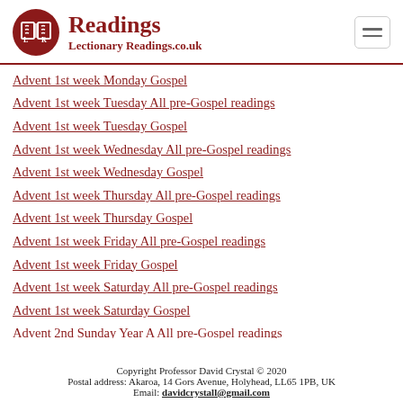Readings — Lectionary Readings.co.uk
Advent 1st week Monday Gospel
Advent 1st week Tuesday All pre-Gospel readings
Advent 1st week Tuesday Gospel
Advent 1st week Wednesday All pre-Gospel readings
Advent 1st week Wednesday Gospel
Advent 1st week Thursday All pre-Gospel readings
Advent 1st week Thursday Gospel
Advent 1st week Friday All pre-Gospel readings
Advent 1st week Friday Gospel
Advent 1st week Saturday All pre-Gospel readings
Advent 1st week Saturday Gospel
Advent 2nd Sunday Year A All pre-Gospel readings
Copyright Professor David Crystal © 2020
Postal address: Akaroa, 14 Gors Avenue, Holyhead, LL65 1PB, UK
Email: davidcrystall@gmail.com